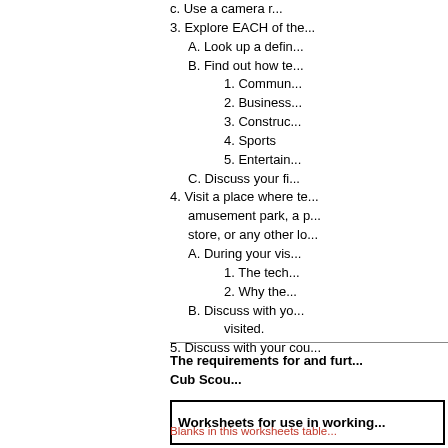c. Use a camera r...
3. Explore EACH of the...
A. Look up a defin...
B. Find out how te...
1. Commun...
2. Business...
3. Construc...
4. Sports
5. Entertain...
C. Discuss your fi...
4. Visit a place where te... amusement park, a p... store, or any other lo...
A. During your vis...
1. The tech...
2. Why the...
B. Discuss with yo... visited.
5. Discuss with your cou...
The requirements for and furt... Cub Scou...
Worksheets for use in working...
Blanks in this worksheets table...